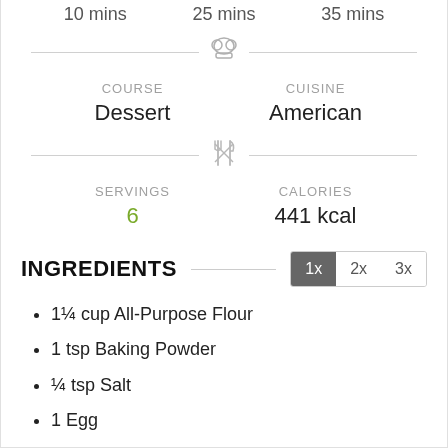10 mins   25 mins   35 mins
COURSE
Dessert
CUISINE
American
SERVINGS
6
CALORIES
441 kcal
INGREDIENTS
1¼ cup All-Purpose Flour
1 tsp Baking Powder
¼ tsp Salt
1 Egg
¼ cup Vegetable Oil
¾ cup Sugar